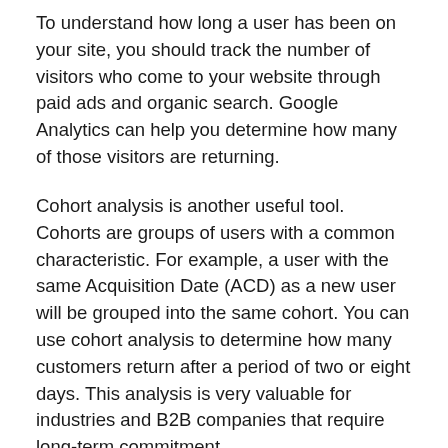To understand how long a user has been on your site, you should track the number of visitors who come to your website through paid ads and organic search. Google Analytics can help you determine how many of those visitors are returning.
Cohort analysis is another useful tool. Cohorts are groups of users with a common characteristic. For example, a user with the same Acquisition Date (ACD) as a new user will be grouped into the same cohort. You can use cohort analysis to determine how many customers return after a period of two or eight days. This analysis is very valuable for industries and B2B companies that require long-term commitment.